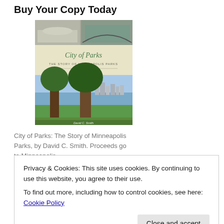Buy Your Copy Today
[Figure (illustration): Book cover of 'City of Parks: The Story of Minneapolis Parks' by David C. Smith, showing trees, a lake, and city skyline with black and white historical photos at top.]
City of Parks: The Story of Minneapolis Parks, by David C. Smith. Proceeds go to Minneapolis
Privacy & Cookies: This site uses cookies. By continuing to use this website, you agree to their use.
To find out more, including how to control cookies, see here: Cookie Policy
Close and accept